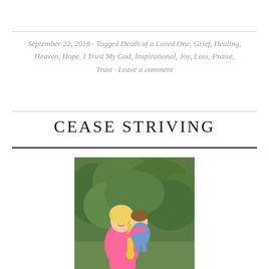September 22, 2018 · Tagged Death of a Loved One, Grief, Healing, Heaven, Hope, I Trust My God, Inspirational, Joy, Loss, Praise, Trust · Leave a comment
CEASE STRIVING
[Figure (photo): A woman with long blonde braided hair wearing a bright pink top, holding a young toddler in a blue outfit, standing outdoors with green trees in the background.]